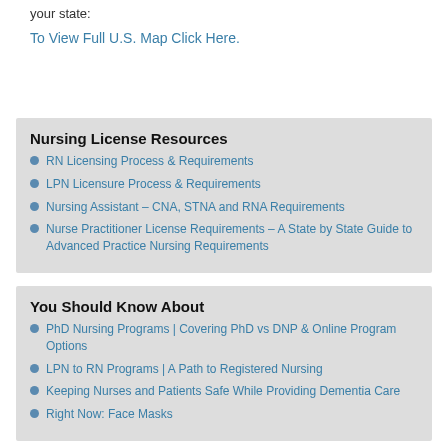your state:
To View Full U.S. Map Click Here.
Nursing License Resources
RN Licensing Process & Requirements
LPN Licensure Process & Requirements
Nursing Assistant – CNA, STNA and RNA Requirements
Nurse Practitioner License Requirements – A State by State Guide to Advanced Practice Nursing Requirements
You Should Know About
PhD Nursing Programs | Covering PhD vs DNP & Online Program Options
LPN to RN Programs | A Path to Registered Nursing
Keeping Nurses and Patients Safe While Providing Dementia Care
Right Now: Face Masks